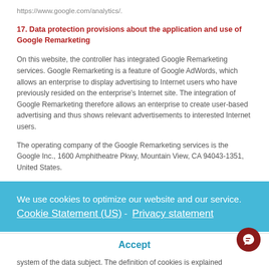https://www.google.com/analytics/.
17. Data protection provisions about the application and use of Google Remarketing
On this website, the controller has integrated Google Remarketing services. Google Remarketing is a feature of Google AdWords, which allows an enterprise to display advertising to Internet users who have previously resided on the enterprise's Internet site. The integration of Google Remarketing therefore allows an enterprise to create user-based advertising and thus shows relevant advertisements to interested Internet users.
The operating company of the Google Remarketing services is the Google Inc., 1600 Amphitheatre Pkwy, Mountain View, CA 94043-1351, United States.
We use cookies to optimize our website and our service.  Cookie Statement (US) -  Privacy statement
Accept
system of the data subject. The definition of cookies is explained